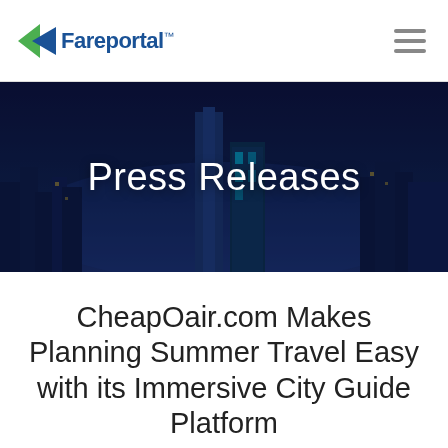[Figure (logo): Fareportal logo with green triangle/arrow icon and blue text, plus hamburger menu icon on the right]
[Figure (photo): Night cityscape showing illuminated skyscrapers with dark blue overlay, used as hero banner background]
Press Releases
CheapOair.com Makes Planning Summer Travel Easy with its Immersive City Guide Platform